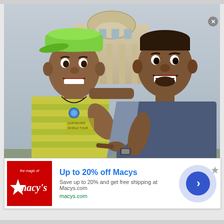[Figure (photo): Two men posing together in front of a building. Left person wears a green hat and yellow-green striped shirt, pointing at the right person. Right person wears a blue-gray raglan sleeve shirt with a watch, smiling. The image appears to show a younger and older version of the same person (Will Smith era Fresh Prince vs adult).]
[Figure (infographic): Macy's advertisement banner. Red square Macy's logo on left. Text reads 'Up to 20% off Macys' in blue bold, then 'Save up to 20% and get free shipping at Macys.com' in gray, then 'macys.com' in green. Right side has a blue circular call-to-action button with a right-pointing chevron arrow, surrounded by a larger light-blue/purple circle. An X close button and an ad badge icon appear at top right.]